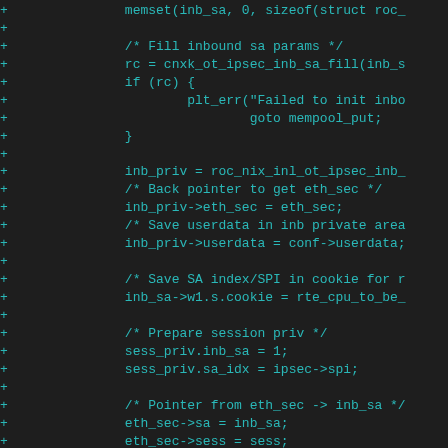[Figure (screenshot): Code diff snippet showing C source code additions (lines marked with '+') for IPsec inbound SA initialization, including memset, cnxk_ot_ipsec_inb_sa_fill, pointer assignments, cookie setting, session private setup, and TAILQ_INSERT_TAIL call. Displayed in monospace teal font on dark background.]